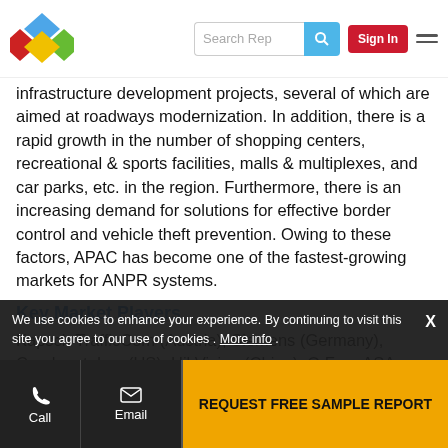Search Rep | Sign In
infrastructure development projects, several of which are aimed at roadways modernization. In addition, there is a rapid growth in the number of shopping centers, recreational & sports facilities, malls & multiplexes, and car parks, etc. in the region. Furthermore, there is an increasing demand for solutions for effective border control and vehicle theft prevention. Owing to these factors, APAC has become one of the fastest-growing markets for ANPR systems.
Key Market Players
Kapsch TrafficCom (Austria), Siemens (Germany), Conduent, Inc. (US), HikVision (China), Q Free ASA (Norway), Adaptive Recognition
We use cookies to enhance your experience. By continuing to visit this site you agree to our use of cookies . More info.
Call | Email | REQUEST FREE SAMPLE REPORT